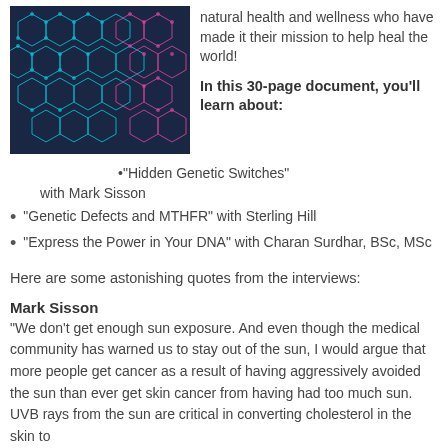[Figure (illustration): Dark blue background with hexagonal molecular/network pattern in cyan and pink/magenta colors]
natural health and wellness who have made it their mission to help heal the world!
In this 30-page document, you'll learn about:
“Hidden Genetic Switches” with Mark Sisson
“Genetic Defects and MTHFR” with Sterling Hill
“Express the Power in Your DNA” with Charan Surdhar, BSc, MSc
Here are some astonishing quotes from the interviews:
Mark Sisson
“We don’t get enough sun exposure. And even though the medical community has warned us to stay out of the sun, I would argue that more people get cancer as a result of having aggressively avoided the sun than ever get skin cancer from having had too much sun. UVB rays from the sun are critical in converting cholesterol in the skin to